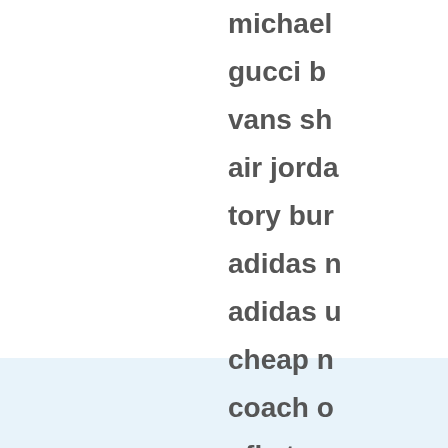michael
gucci b
vans sh
air jorda
tory bur
adidas n
adidas u
cheap n
coach o
nfl store
kobe by